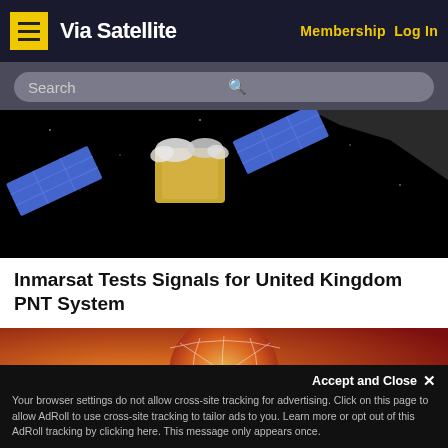Via Satellite | Membership  Log In
Search
[Figure (photo): Satellite spacecraft with blue solar panels against black space background]
Inmarsat Tests Signals for United Kingdom PNT System
[Figure (illustration): Orange and red globe with network overlay lines, Diversity Inclusion & Equity text partially visible]
Accept and Close ×
Your browser settings do not allow cross-site tracking for advertising. Click on this page to allow AdRoll to use cross-site tracking to tailor ads to you. Learn more or opt out of this AdRoll tracking by clicking here. This message only appears once.